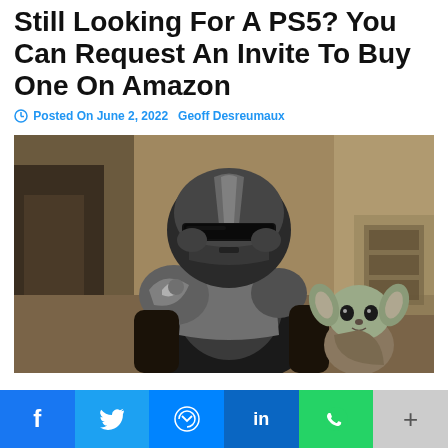Still Looking For A PS5? You Can Request An Invite To Buy One On Amazon
Posted On June 2, 2022   Geoff Desreumaux
[Figure (photo): The Mandalorian in silver armor standing with Baby Yoda (Grogu) in the background, from the Star Wars Disney+ series The Mandalorian.]